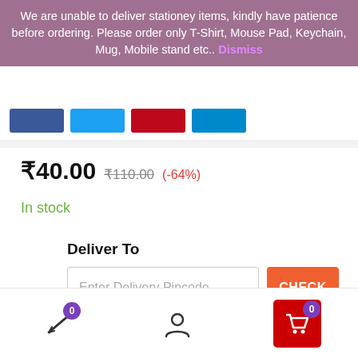We are unable to deliver stationey items, kindly have patience before ordering. Please order only T-Shirt, Mouse Pad, Keychain, Mug, Mobile stand etc..  Dismiss
₹40.00  ₹110.00  (-64%)
In stock
Deliver To
Enter Delivery Pincode
CHECK
1
ADD TO CART
0  [user icon]  0 [cart icon]